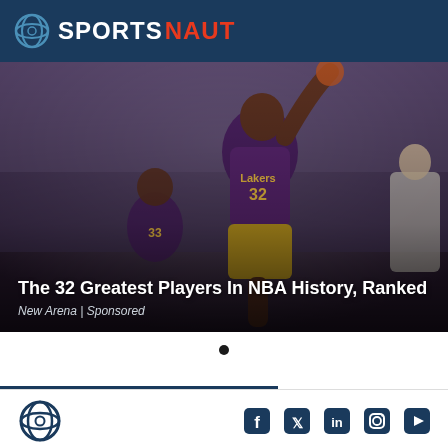SPORTSNAUT
[Figure (photo): Basketball player in Los Angeles Lakers purple jersey with number 32 dunking or driving to the basket, with another Lakers player wearing number 33 in background, crowd visible in background. Dark stadium setting.]
The 32 Greatest Players In NBA History, Ranked
New Arena | Sponsored
SPORTSNAUT footer with social media icons: Facebook, Twitter, LinkedIn, Instagram, YouTube